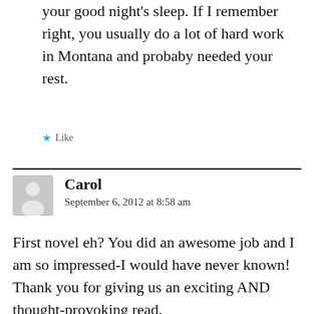your good night's sleep. If I remember right, you usually do a lot of hard work in Montana and probaby needed your rest.
★ Like
Carol
September 6, 2012 at 8:58 am
First novel eh? You did an awesome job and I am so impressed-I would have never known! Thank you for giving us an exciting AND thought-provoking read.